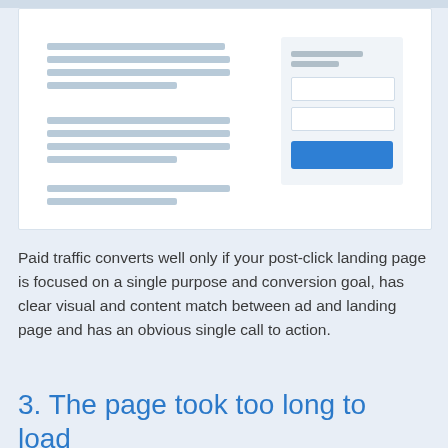[Figure (screenshot): Wireframe/mockup of a landing page showing text content lines on the left and a form with input fields and a blue CTA button on the right, on a white card background.]
Paid traffic converts well only if your post-click landing page is focused on a single purpose and conversion goal, has clear visual and content match between ad and landing page and has an obvious single call to action.
3. The page took too long to load